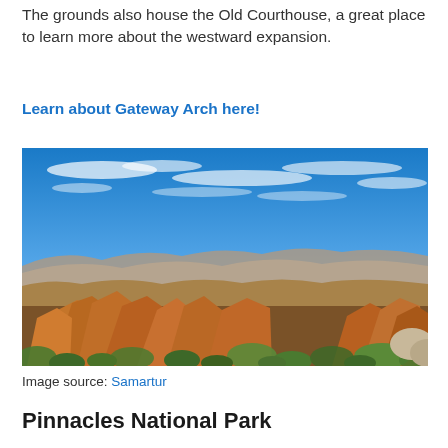The grounds also house the Old Courthouse, a great place to learn more about the westward expansion.
Learn about Gateway Arch here!
[Figure (photo): Panoramic landscape photograph of Pinnacles National Park showing large orange-red rock formations in the foreground, green shrubs and vegetation, and a wide blue sky with white wispy clouds overhead. Mountains and valleys are visible in the background.]
Image source: Samartur
Pinnacles National Park